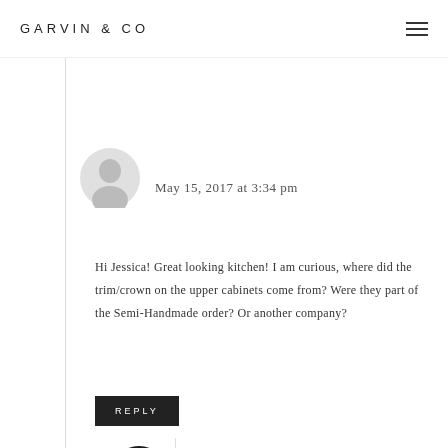GARVIN & CO
May 15, 2017 at 3:34 pm
Hi Jessica! Great looking kitchen! I am curious, where did the trim/crown on the upper cabinets come from? Were they part of the Semi-Handmade order? Or another company?
REPLY
JESSICA GARVIN says
May 15, 2017 at 5:35 pm